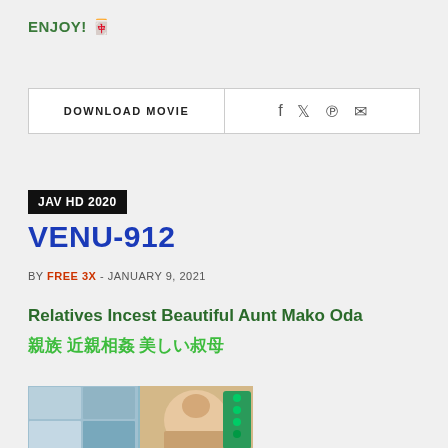ENJOY! 🀄
DOWNLOAD MOVIE
f  🐦  ℗  ✉
JAV HD 2020
VENU-912
BY FREE 3X  -  JANUARY 9, 2021
Relatives Incest Beautiful Aunt Mako Oda
親族 近親相姦 美しい叔母
[Figure (photo): Thumbnail collage image of VENU-912 movie]